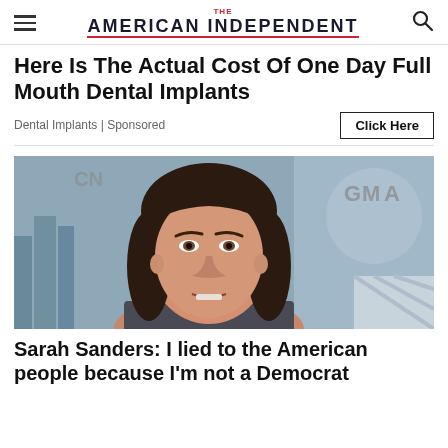THE AMERICAN INDEPENDENT
Here Is The Actual Cost Of One Day Full Mouth Dental Implants
Dental Implants | Sponsored
Click Here
[Figure (photo): Woman with dark hair speaking on what appears to be a CNN/GMA television broadcast set]
Sarah Sanders: I lied to the American people because I'm not a Democrat